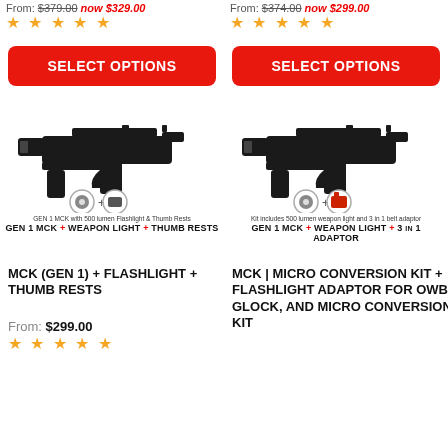From: $379.00 now $329.00
From: $374.00 now $299.00
[Figure (other): Five gold star rating (left product)]
[Figure (other): Five gold star rating (right product)]
SELECT OPTIONS (left button)
SELECT OPTIONS (right button)
[Figure (photo): GEN 1 MCK with 500 lumen Flashlight & Thumb Rests. GEN 1 MCK + WEAPON LIGHT + THUMB RESTS]
[Figure (photo): Kit includes 500 lumen weapon light and 3 in 1 belt adaptor. GEN 1 MCK + WEAPON LIGHT + 3 IN 1 ADAPTOR]
MCK (GEN 1) + FLASHLIGHT + THUMB RESTS
MCK | MICRO CONVERSION KIT + FLASHLIGHT ADAPTOR FOR OWB, GLOCK, AND MICRO CONVERSION KIT
From: $299.00
[Figure (other): Five gold star rating (left product bottom)]